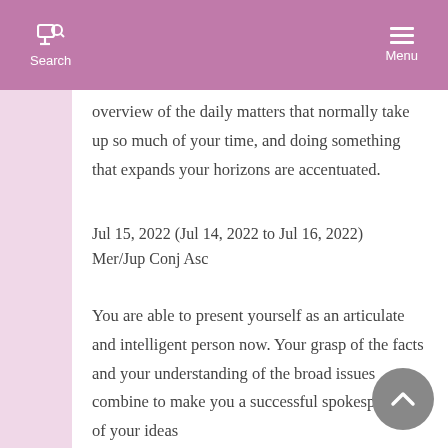Search  Menu
overview of the daily matters that normally take up so much of your time, and doing something that expands your horizons are accentuated.
Jul 15, 2022 (Jul 14, 2022 to Jul 16, 2022)
Mer/Jup Conj Asc
You are able to present yourself as an articulate and intelligent person now. Your grasp of the facts and your understanding of the broad issues combine to make you a successful spokesperson of your ideas